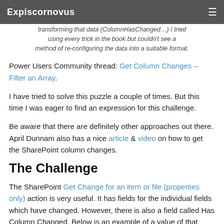Expiscornovus
transforming that data (ColumnHasChanged...) I tried using every trick in the book but couldn't see a method of re-configuring the data into a suitable format.
Power Users Community thread: Get Column Changes – Filter an Array.
I have tried to solve this puzzle a couple of times. But this time I was eager to find an expression for this challenge.
Be aware that there are definitely other approaches out there. April Dunnam also has a nice article & video on how to get the SharePoint column changes.
The Challenge
The SharePoint Get Change for an item or file (properties only) action is very useful. It has fields for the individual fields which have changed. However, there is also a field called Has Column Changed. Below is an example of a value of that field. As you can see it has the following structure: field...